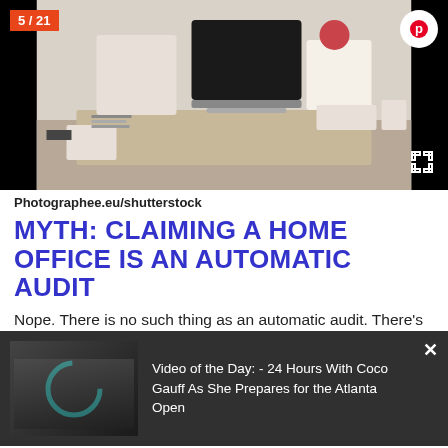[Figure (photo): Home office desk with computer monitor, keyboard, plant, and decorations on a wooden desk against a white wall]
Photographee.eu/shutterstock
MYTH: CLAIMING A HOME OFFICE IS AN AUTOMATIC AUDIT
Nope. There is no such thing as an automatic audit. There's
[Figure (screenshot): Video overlay showing: Video of the Day: - 24 Hours With Coco Gauff As She Prepares for the Atlanta Open]
And there are a few scenarios that might trigger an audit:
major changes in income or charitable giving, missing forms